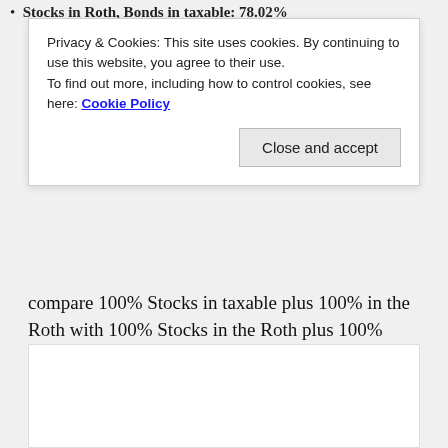Stocks in Roth, Bonds in taxable: 78.02%
Privacy & Cookies: This site uses cookies. By continuing to use this website, you agree to their use.
To find out more, including how to control cookies, see here: Cookie Policy
compare 100% Stocks in taxable plus 100% in the Roth with 100% Stocks in the Roth plus 100% bonds in the taxable, we're really comparing apples and oranges. The two portfolios drift apart over time if measured by their (after-tax) asset allocation and that explains why you get these counterintuitive results.
[Figure (other): White rectangular box at bottom of page, partially visible]